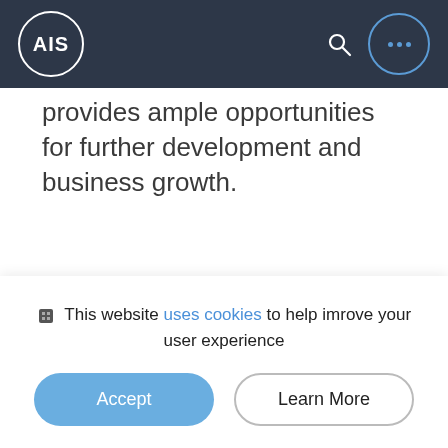AIS
provides ample opportunities for further development and business growth.
Stay in touch
This website uses cookies to help imrove your user experience
Accept
Learn More